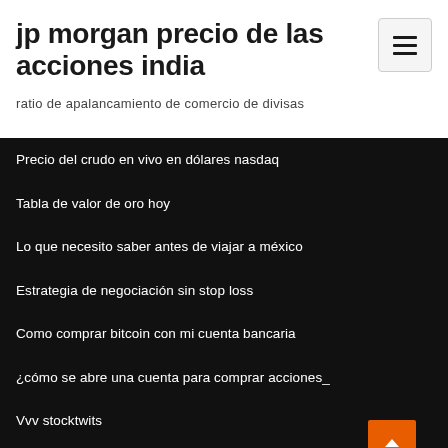jp morgan precio de las acciones india
ratio de apalancamiento de comercio de divisas
Precio del crudo en vivo en dólares nasdaq
Tabla de valor de oro hoy
Lo que necesito saber antes de viajar a méxico
Estrategia de negociación sin stop loss
Como comprar bitcoin con mi cuenta bancaria
¿cómo se abre una cuenta para comprar acciones_
Vvv stocktwits
Cambio de contraseña de tigre comercial
El oro se trasladó de londres a polonia_